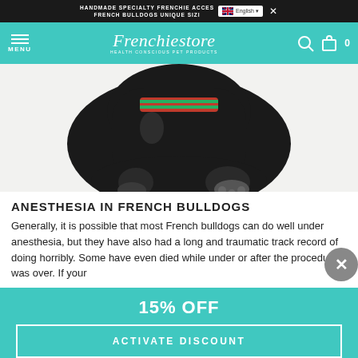HANDMADE SPECIALTY FRENCHIE ACCESSORIES FOR FRENCH BULLDOGS UNIQUE SIZING | English
Frenchiestore HEALTH CONSCIOUS PET PRODUCTS
[Figure (photo): A black French Bulldog leaning down, seen from behind/side, wearing a colorful red and green striped bandana, on a white background]
ANESTHESIA IN FRENCH BULLDOGS
Generally, it is possible that most French bulldogs can do well under anesthesia, but they have also had a long and traumatic track record of doing horribly. Some have even died while under or after the procedure was over. If your
15% OFF
ACTIVATE DISCOUNT